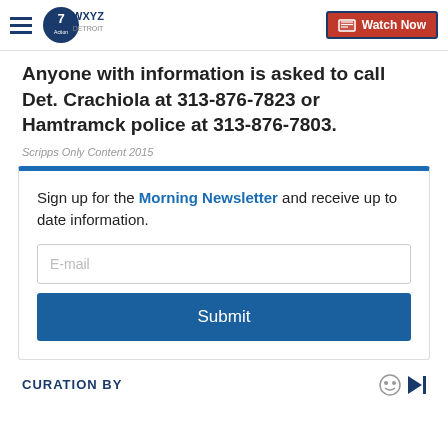WXYZ Detroit — Watch Now
Anyone with information is asked to call Det. Crachiola at 313-876-7823 or Hamtramck police at 313-876-7803.
Scripps Only Content 2015
Sign up for the Morning Newsletter and receive up to date information.
CURATION BY